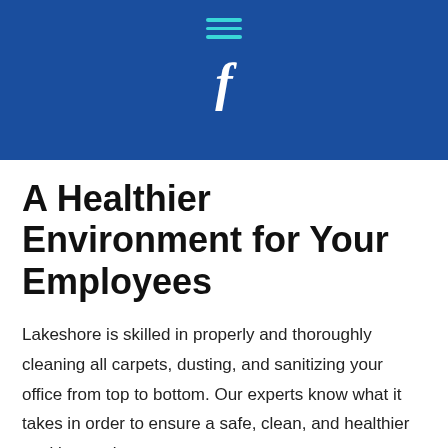[Figure (other): Blue navigation header bar with hamburger menu icon in teal and Facebook 'f' logo in white]
A Healthier Environment for Your Employees
Lakeshore is skilled in properly and thoroughly cleaning all carpets, dusting, and sanitizing your office from top to bottom. Our experts know what it takes in order to ensure a safe, clean, and healthier working environment.
Office workers are not too keen on cleaning bathrooms, emptying trash cans, dusting every hard surface, vacuuming, etc. Allow your workers to do what they perform best at and